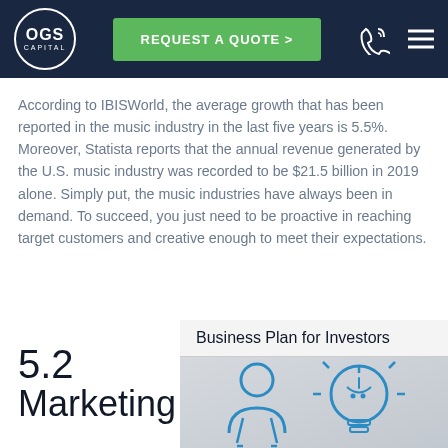OGS Capital | REQUEST A QUOTE >
According to IBISWorld, the average growth that has been reported in the music industry in the last five years is 5.5%. Moreover, Statista reports that the annual revenue generated by the U.S. music industry was recorded to be $21.5 billion in 2019 alone. Simply put, the music industries have always been in demand. To succeed, you just need to be proactive in reaching target customers and creative enough to meet their expectations.
5.2 Marketing
[Figure (illustration): Business Plan for Investors illustration showing a person and a lightbulb icon in blue line art style on a grey gradient background]